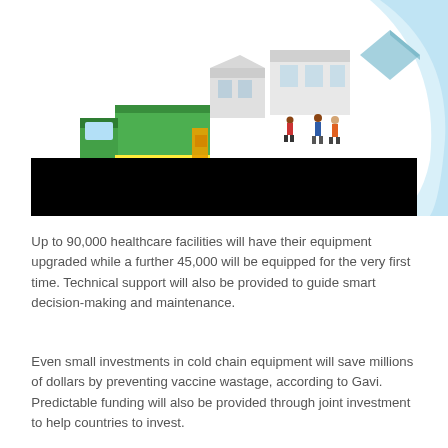V [logo] | search | menu
[Figure (illustration): Isometric illustration of a green delivery truck and healthcare/warehouse buildings with people, and a blue curved stripe element on a white background. Bottom portion has a black redacted bar.]
Up to 90,000 healthcare facilities will have their equipment upgraded while a further 45,000 will be equipped for the very first time. Technical support will also be provided to guide smart decision-making and maintenance.
Even small investments in cold chain equipment will save millions of dollars by preventing vaccine wastage, according to Gavi. Predictable funding will also be provided through joint investment to help countries to invest.